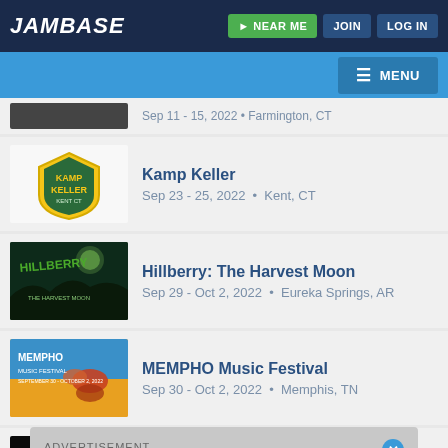JamBase | NEAR ME | JOIN | LOG IN
MENU
Sep 11 - 15, 2022 • Farmington, CT
Kamp Keller
Sep 23 - 25, 2022 • Kent, CT
Hillberry: The Harvest Moon
Sep 29 - Oct 2, 2022 • Eureka Springs, AR
MEMPHO Music Festival
Sep 30 - Oct 2, 2022 • Memphis, TN
Indy Jazz Fest
ADVERTISEMENT